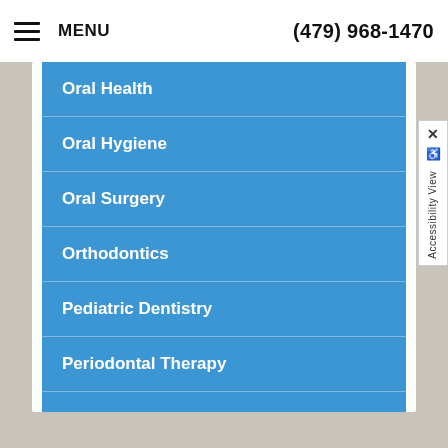MENU   (479) 968-1470
Oral Health
Oral Hygiene
Oral Surgery
Orthodontics
Pediatric Dentistry
Periodontal Therapy
Technology